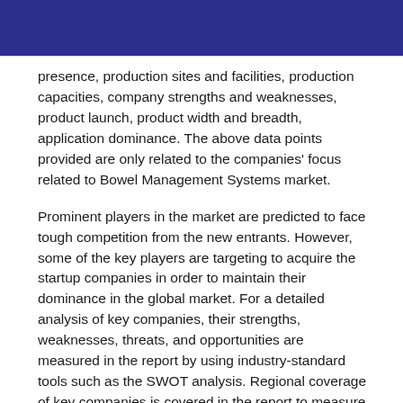presence, production sites and facilities, production capacities, company strengths and weaknesses, product launch, product width and breadth, application dominance. The above data points provided are only related to the companies’ focus related to Bowel Management Systems market.
Prominent players in the market are predicted to face tough competition from the new entrants. However, some of the key players are targeting to acquire the startup companies in order to maintain their dominance in the global market. For a detailed analysis of key companies, their strengths, weaknesses, threats, and opportunities are measured in the report by using industry-standard tools such as the SWOT analysis. Regional coverage of key companies is covered in the report to measure their dominance. Key manufacturers of Bowel Management Systems market are focusing on introducing new